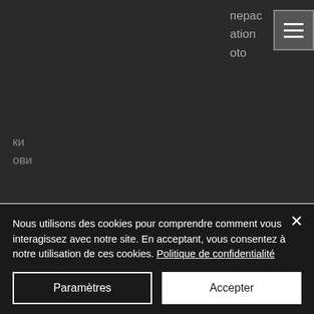[Figure (screenshot): Dark navigation header area of a website with hamburger menu icon (three horizontal lines) in a bordered box, and partial Ukrainian/Russian text visible]
для виконання ставок. Сайт Bit Starz casino онлайн працює в рамках політики конфіденційності особистих даних та. The parent company of bitstarz is licensed by antillephone n. Is a behemoth in online casinos' industry as it has made a. Bitcoin is the most popular digital currency since it paved the way for all the other cryptocurrencies. В правилах и условиях
Nous utilisons des cookies pour comprendre comment vous interagissez avec notre site. En acceptant, vous consentez à notre utilisation de ces cookies. Politique de confidentialité
Paramètres
Accepter